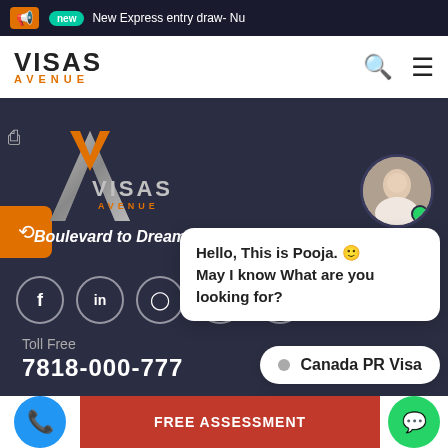New Express entry draw- Nu
[Figure (logo): Visas Avenue logo with search and hamburger menu icons]
[Figure (logo): Visas Avenue large watermark logo with text 'Boulevard to Dreams']
Toll Free
7818-000-777
Online Payment
Hello, This is Pooja. 🙂 May I know What are you looking for?
Canada PR Visa
Australia PR Visa
FREE ASSESSMENT